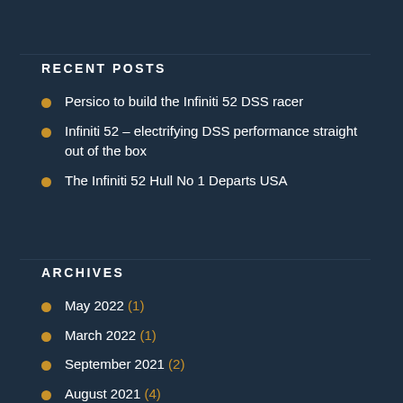RECENT POSTS
Persico to build the Infiniti 52 DSS racer
Infiniti 52 – electrifying DSS performance straight out of the box
The Infiniti 52 Hull No 1 Departs USA
ARCHIVES
May 2022 (1)
March 2022 (1)
September 2021 (2)
August 2021 (4)
July 2021 (1)
May 2021 (4)